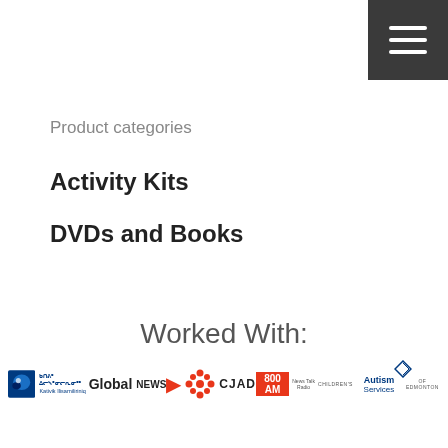[Figure (other): Dark grey hamburger menu button in top-right corner with three white horizontal lines]
Product categories
Activity Kits
DVDs and Books
Worked With:
[Figure (logo): Row of partner logos: Kativik Ilisarniliriniq, Global News, CBC, CJAD 800 AM, Children's Autism Services of Edmonton]